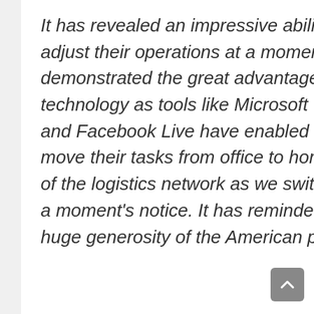It has revealed an impressive ability of many businesses to adjust their operations at a moment's notice. It has demonstrated the great advantages offered by modern technology as tools like Microsoft Teams, Webex, GoToMeeting and Facebook Live have enabled employees and students to move their tasks from office to home. It has shown the flexibility of the logistics network as we switched over to home delivery at a moment's notice. It has reminded the world, once again, of the huge generosity of the American people, as